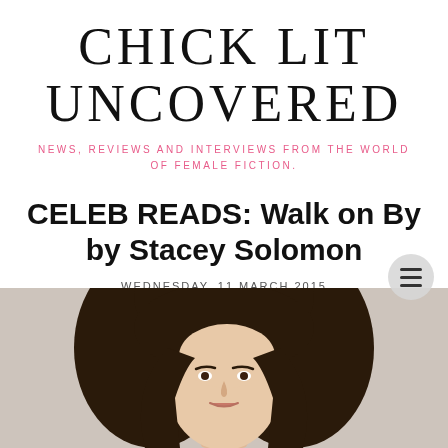CHICK LIT UNCOVERED
NEWS, REVIEWS AND INTERVIEWS FROM THE WORLD OF FEMALE FICTION.
CELEB READS: Walk on By by Stacey Solomon
WEDNESDAY, 11 MARCH 2015
[Figure (photo): Portrait photo of a young woman with long dark brown hair, photographed from the shoulders up against a neutral beige background.]